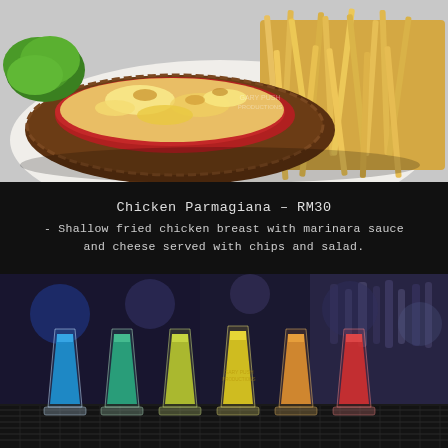[Figure (photo): Close-up photo of Chicken Parmagiana on a white plate: breaded chicken breast topped with marinara sauce and melted cheese, served with a pile of french fries and lettuce garnish.]
Chicken Parmagiana – RM30
- Shallow fried chicken breast with marinara sauce and cheese served with chips and salad.
[Figure (photo): Photo of six colorful shot glasses lined up on a bar counter, each containing a different colored liquid: blue, green, yellow-green, yellow, orange, and red/pink. Bar with bottles in background.]